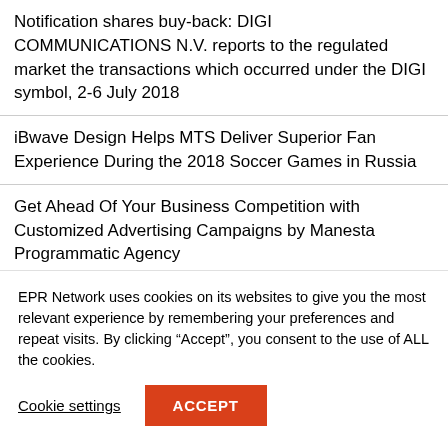Notification shares buy-back: DIGI COMMUNICATIONS N.V. reports to the regulated market the transactions which occurred under the DIGI symbol, 2-6 July 2018
iBwave Design Helps MTS Deliver Superior Fan Experience During the 2018 Soccer Games in Russia
Get Ahead Of Your Business Competition with Customized Advertising Campaigns by Manesta Programmatic Agency
Digi Communications N.V. announces the publishing of ANCOM approval for RCS & RDS S.A. to continue to
EPR Network uses cookies on its websites to give you the most relevant experience by remembering your preferences and repeat visits. By clicking "Accept", you consent to the use of ALL the cookies.